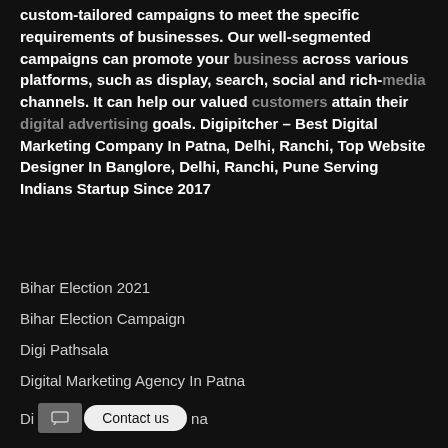custom-tailored campaigns to meet the specific requirements of businesses. Our well-segmented campaigns can promote your business across various platforms, such as display, search, social and rich-media channels. It can help our valued customers attain their digital advertising goals. Digipitcher – Best Digital Marketing Company In Patna, Delhi, Ranchi, Top Website Designer In Banglore, Delhi, Ranchi, Pune Serving Indians Startup Since 2017
Bihar Election 2021
Bihar Election Campaign
Digi Pathsala
Digital Marketing Agency In Patna
Digital Marketing Agency In Patna
Digital Marketing Course